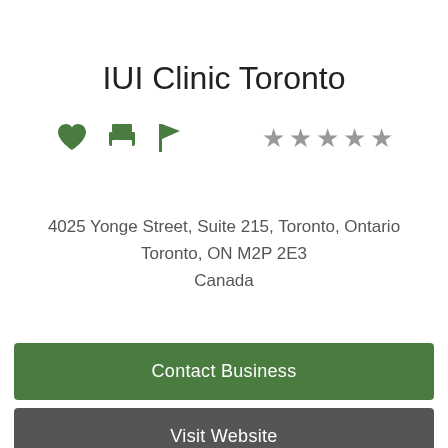IUI Clinic Toronto
[Figure (infographic): Green heart icon, green printer icon, green flag icon, and five grey star rating icons]
4025 Yonge Street, Suite 215, Toronto, Ontario
Toronto, ON M2P 2E3
Canada
Contact Business
Visit Website